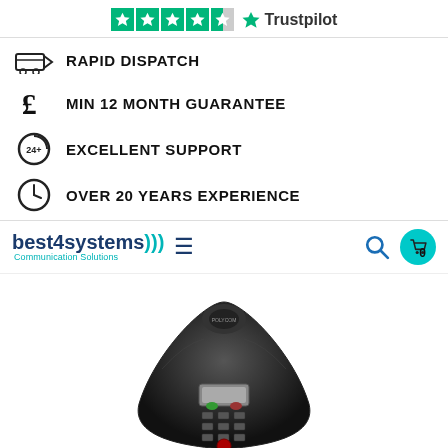[Figure (logo): Trustpilot rating bar with 4.5 green stars and Trustpilot logo]
RAPID DISPATCH
MIN 12 MONTH GUARANTEE
EXCELLENT SUPPORT
OVER 20 YEARS EXPERIENCE
[Figure (logo): best4systems Communication Solutions logo with navigation icons]
[Figure (photo): Conference room phone, black, top-down view showing keypad and display]